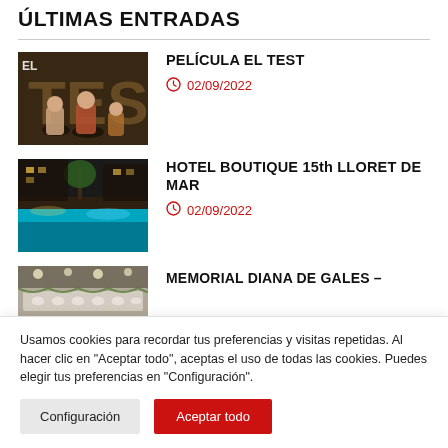ÚLTIMAS ENTRADAS
[Figure (photo): Movie poster/still for Película El Test showing people]
PELÍCULA EL TEST
02/09/2022
[Figure (photo): Hotel boutique image showing pool area at night]
HOTEL BOUTIQUE 15th LLORET DE MAR
02/09/2022
[Figure (photo): Memorial Diana de Gales image]
MEMORIAL DIANA DE GALES –
Usamos cookies para recordar tus preferencias y visitas repetidas. Al hacer clic en "Aceptar todo", aceptas el uso de todas las cookies. Puedes elegir tus preferencias en "Configuración".
Configuración
Aceptar todo